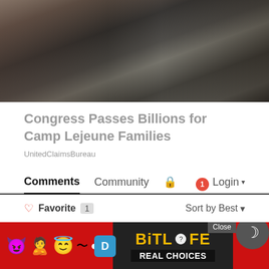[Figure (photo): Close-up photo of military/tactical gear, dark tones with hands and equipment visible]
Congress Passes Billions for Camp Lejeune Families
UnitedClaimsBureau
Comments  Community  🔒  1  Login ▾
♡ Favorite  1   Sort by Best ▾
Join the discussion…
LOG IN WITH
[Figure (screenshot): Advertisement banner with emoji characters (devil, woman raising hands, angel face, worm) and BitLife logo with 'REAL CHOICES' text on dark/red background. Close button and moon icon overlay.]